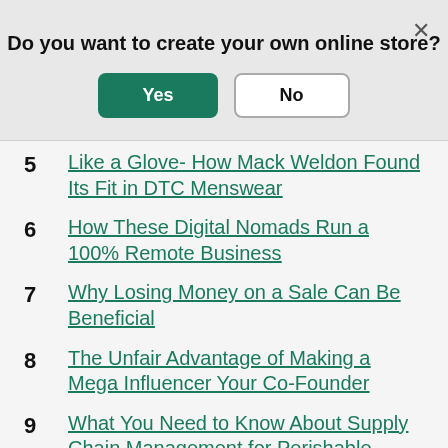Do you want to create your own online store?
Yes | No
5  Like a Glove- How Mack Weldon Found Its Fit in DTC Menswear
6  How These Digital Nomads Run a 100% Remote Business
7  Why Losing Money on a Sale Can Be Beneficial
8  The Unfair Advantage of Making a Mega Influencer Your Co-Founder
9  What You Need to Know About Supply Chain Management for Perishable Foods
10  How Nadeef Bidet Converts